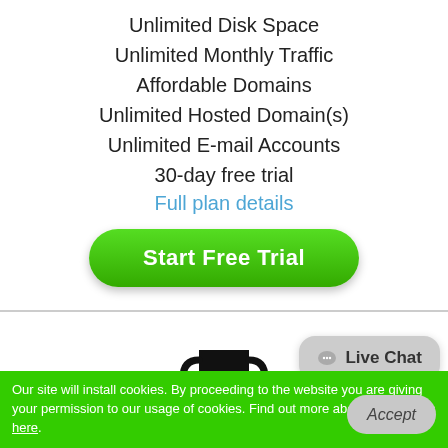Unlimited Disk Space
Unlimited Monthly Traffic
Affordable Domains
Unlimited Hosted Domain(s)
Unlimited E-mail Accounts
30-day free trial
Full plan details
Start Free Trial
[Figure (illustration): Trophy icon]
Service Guarantees
Our site will install cookies. By proceeding to the website you are giving your permission to our usage of cookies. Find out more about our cookies here.